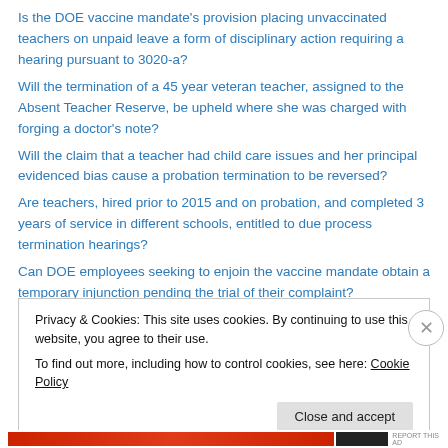Is the DOE vaccine mandate's provision placing unvaccinated teachers on unpaid leave a form of disciplinary action requiring a hearing pursuant to 3020-a?
Will the termination of a 45 year veteran teacher, assigned to the Absent Teacher Reserve, be upheld where she was charged with forging a doctor's note?
Will the claim that a teacher had child care issues and her principal evidenced bias cause a probation termination to be reversed?
Are teachers, hired prior to 2015 and on probation, and completed 3 years of service in different schools, entitled to due process termination hearings?
Can DOE employees seeking to enjoin the vaccine mandate obtain a temporary injunction pending the trial of their complaint?
Privacy & Cookies: This site uses cookies. By continuing to use this website, you agree to their use.
To find out more, including how to control cookies, see here: Cookie Policy